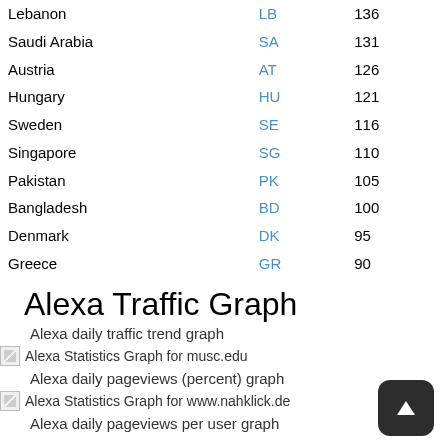| Country | Code | Value |
| --- | --- | --- |
| Lebanon | LB | 136 |
| Saudi Arabia | SA | 131 |
| Austria | AT | 126 |
| Hungary | HU | 121 |
| Sweden | SE | 116 |
| Singapore | SG | 110 |
| Pakistan | PK | 105 |
| Bangladesh | BD | 100 |
| Denmark | DK | 95 |
| Greece | GR | 90 |
Alexa Traffic Graph
Alexa daily traffic trend graph
[Figure (other): Alexa Statistics Graph for musc.edu]
Alexa daily pageviews (percent) graph
[Figure (other): Alexa Statistics Graph for www.nahklick.de]
Alexa daily pageviews per user graph